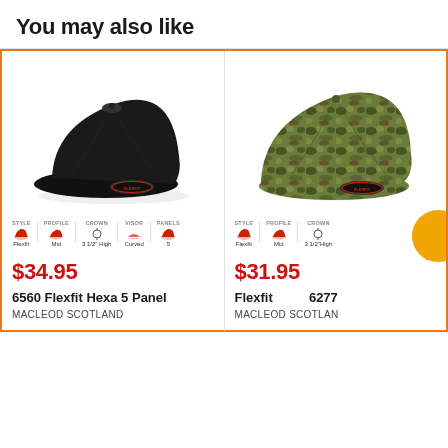You may also like
[Figure (photo): Black Flexfit baseball cap with Flexfit logo on interior band, shown with style spec icons below: Style=Flexfit, Profile=Mid, Crown=3 1/2" High, Visor=Curved, Panels=5]
$34.95
6560 Flexfit Hexa 5 Panel
MACLEOD SCOTLAND
[Figure (photo): Camouflage Flexfit cap shown from the side with Flexfit logo, with spec icons below: Style=Flexfit, Profile=Mid, Crown=3 1/2" High (partially visible)]
$31.95
Flexfit 6277
MACLEOD SCOTLAND